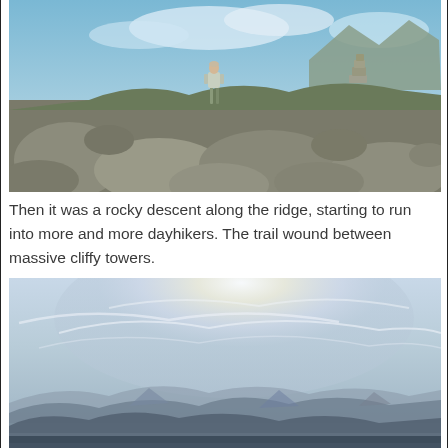[Figure (photo): A hiker standing on top of a rocky ridge with large boulders and lichen-covered rocks in the foreground, blue sky and mountain peaks in the background.]
Then it was a rocky descent along the ridge, starting to run into more and more dayhikers. The trail wound between massive cliffy towers.
[Figure (photo): A panoramic mountain landscape viewed from a high summit, showing hazy blue ridgelines fading into the distance under a bright, cloud-streaked sky with the sun partly obscured.]